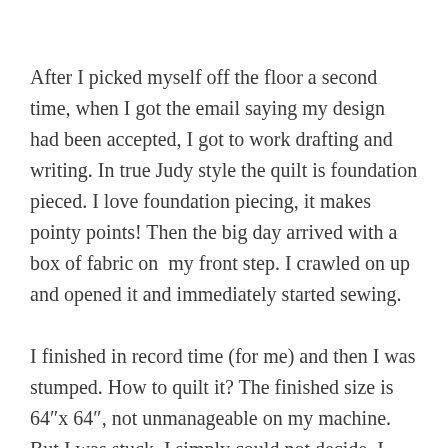After I picked myself off the floor a second time, when I got the email saying my design had been accepted, I got to work drafting and writing. In true Judy style the quilt is foundation pieced. I love foundation piecing, it makes pointy points! Then the big day arrived with a box of fabric on my front step. I crawled on up and opened it and immediately started sewing.

I finished in record time (for me) and then I was stumped. How to quilt it? The finished size is 64"x 64", not unmanageable on my machine. But I was stuck. I simply could not decide. I definitely